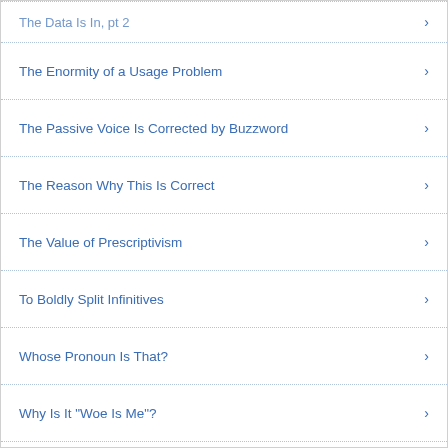The Data Is In, pt 2
The Enormity of a Usage Problem
The Passive Voice Is Corrected by Buzzword
The Reason Why This Is Correct
The Value of Prescriptivism
To Boldly Split Infinitives
Whose Pronoun Is That?
Why Is It "Woe Is Me"?
Yes, Irregardless Is a Word
+ Varieties of English (3)
+ Words (36)
+ Writing (2)